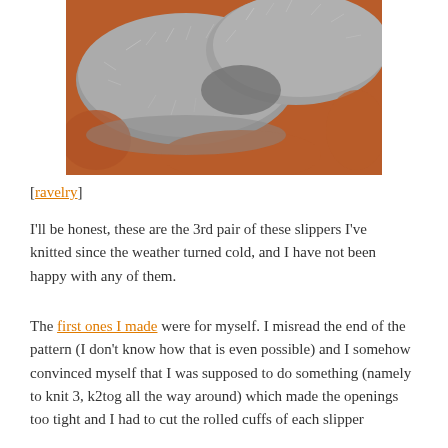[Figure (photo): Close-up photo of grey fuzzy knitted slippers on an orange/rust colored fabric background]
[ravelry]
I'll be honest, these are the 3rd pair of these slippers I've knitted since the weather turned cold, and I have not been happy with any of them.
The first ones I made were for myself. I misread the end of the pattern (I don't know how that is even possible) and I somehow convinced myself that I was supposed to do something (namely to knit 3, k2tog all the way around) which made the openings too tight and I had to cut the rolled cuffs of each slipper